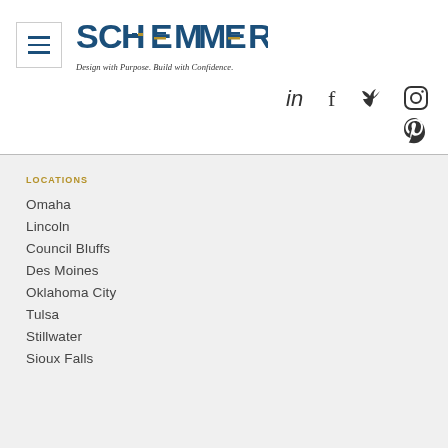[Figure (logo): Schemmer logo with text 'SCHEMMER' in blue with colored horizontal lines, tagline 'Design with Purpose. Build with Confidence.' in italic]
[Figure (infographic): Social media icons: LinkedIn, Facebook, Twitter, Instagram, Pinterest]
LOCATIONS
Omaha
Lincoln
Council Bluffs
Des Moines
Oklahoma City
Tulsa
Stillwater
Sioux Falls